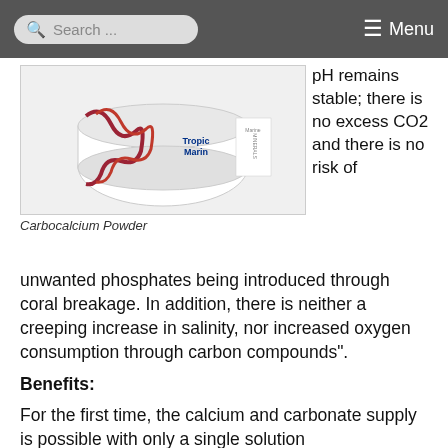Search ... Menu
[Figure (photo): Tropic Marin Marine Minerals Carbocalcium Powder product container]
Carbocalcium Powder
pH remains stable; there is no excess CO2 and there is no risk of unwanted phosphates being introduced through coral breakage. In addition, there is neither a creeping increase in salinity, nor increased oxygen consumption through carbon compounds".
Benefits:
For the first time, the calcium and carbonate supply is possible with only a single solution